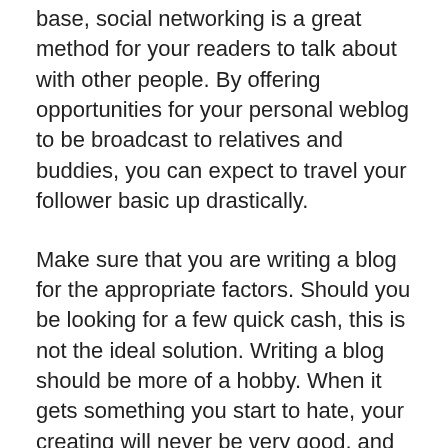base, social networking is a great method for your readers to talk about with other people. By offering opportunities for your personal weblog to be broadcast to relatives and buddies, you can expect to travel your follower basic up drastically.
Make sure that you are writing a blog for the appropriate factors. Should you be looking for a few quick cash, this is not the ideal solution. Writing a blog should be more of a hobby. When it gets something you start to hate, your creating will never be very good, and you will probably have significantly less visitors.
Consider engaging in some on the internet team assignments. Try to perform some collaborative producing difficulties on the web. That can be done things like guest writing a blog, or even producing some e-textbooks. It could be a quite productive chance to